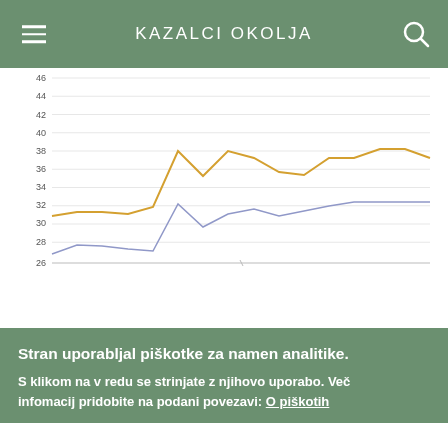KAZALCI OKOLJA
[Figure (line-chart): ]
Stran uporabljal piškotke za namen analitike.
S klikom na v redu se strinjate z njihovo uporabo. Več infomacij pridobite na podani povezavi: O piškotih